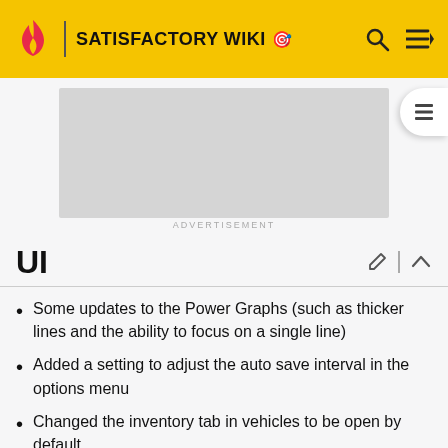SATISFACTORY WIKI
[Figure (screenshot): Advertisement placeholder grey box]
ADVERTISEMENT
UI
Some updates to the Power Graphs (such as thicker lines and the ability to focus on a single line)
Added a setting to adjust the auto save interval in the options menu
Changed the inventory tab in vehicles to be open by default
Removed Foundations from the Organisation category, since they have their own